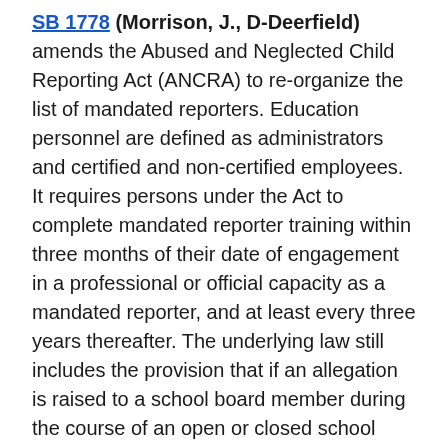SB 1778 (Morrison, J., D-Deerfield) amends the Abused and Neglected Child Reporting Act (ANCRA) to re-organize the list of mandated reporters. Education personnel are defined as administrators and certified and non-certified employees. It requires persons under the Act to complete mandated reporter training within three months of their date of engagement in a professional or official capacity as a mandated reporter, and at least every three years thereafter. The underlying law still includes the provision that if an allegation is raised to a school board member during the course of an open or closed school board meeting that there has been abuse of a child, the school board member shall direct the case to the superintendent who must report the incident. The bill is now Public